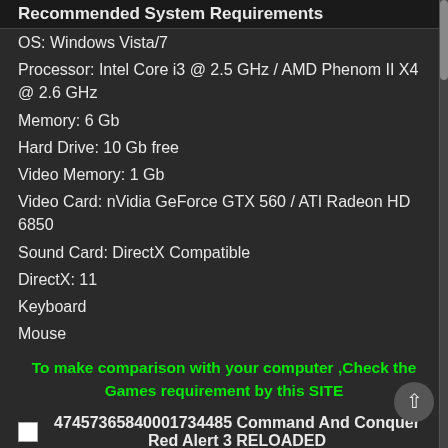Recommended System Requirements
OS: Windows Vista/7
Processor: Intel Core i3 @ 2.5 GHz / AMD Phenom II X4 @ 2.6 GHz
Memory: 6 Gb
Hard Drive: 10 Gb free
Video Memory: 1 Gb
Video Card: nVidia GeForce GTX 560 / ATI Radeon HD 6850
Sound Card: DirectX Compatible
DirectX: 11
Keyboard
Mouse
To make comparison with your computer ,Check the Games requirement by this SITE
47457365840001734485 Command And Conquer Red Alert 3 RELOADED
1.  Unrar.
2.  Burn or mount the image.